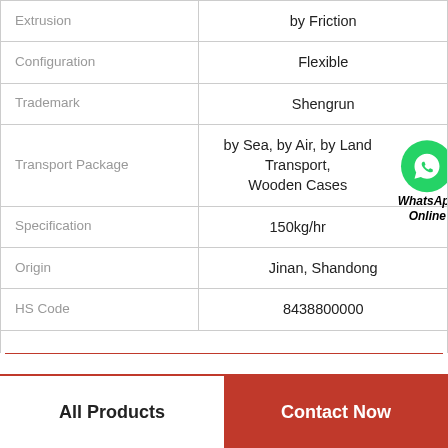| Property | Value |
| --- | --- |
| Extrusion | by Friction |
| Configuration | Flexible |
| Trademark | Shengrun |
| Transport Package | by Sea, by Air, by Land Transport, Wooden Cases |
| Specification | 150kg/hr |
| Origin | Jinan, Shandong |
| HS Code | 8438800000 |
All Products
Contact Now